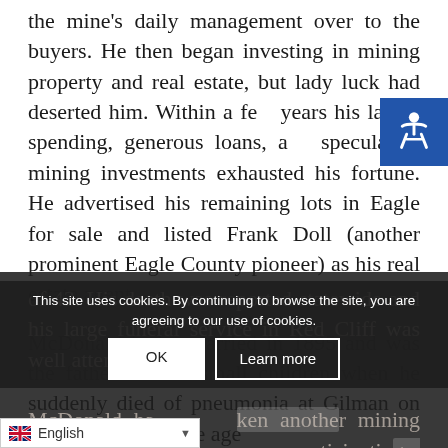the mine's daily management over to the buyers. He then began investing in mining property and real estate, but lady luck had deserted him. Within a few years his lavish spending, generous loans, and speculative mining investments exhausted his fortune. He advertised his remaining lots in Eagle for sale and listed Frank Doll (another prominent Eagle County pioneer) as his real estate agent.
McDonald had remarried in 1895 and was the father of two small children when he suddenly died of pneumonia at Gilman on April 3, 1899, at the age of 43. His death was reported statewide and his large funeral service in Red Cliff was well attended.
McDonald had taken another mining lease on Battle Mo... as anticipating a big strike
This site uses cookies. By continuing to browse the site, you are agreeing to our use of cookies.
OK   Learn more
English